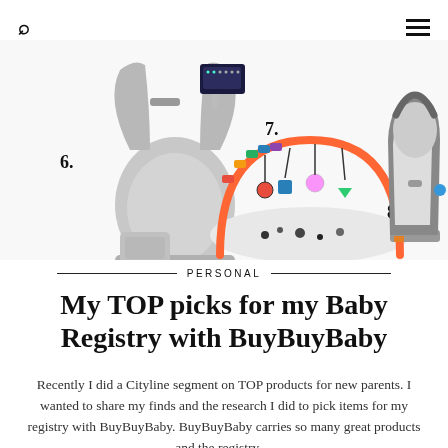Search and Menu icons
[Figure (photo): Three baby product images numbered 6, 7, and 8. Item 6 is a grey Ergobaby carrier with a pouch. Item 7 is a colorful baby activity gym/play mat. Item 8 is a grey infant car seat.]
PERSONAL
My TOP picks for my Baby Registry with BuyBuyBaby
Recently I did a Cityline segment on TOP products for new parents. I wanted to share my finds and the research I did to pick items for my registry with BuyBuyBaby. BuyBuyBaby carries so many great products and the registry…